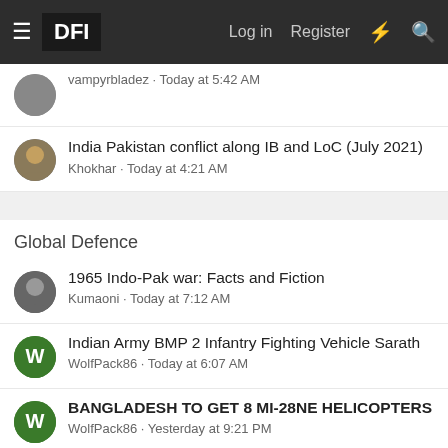DFI | Log in | Register
vampyrbladez · Today at 5:42 AM
India Pakistan conflict along IB and LoC (July 2021)
Khokhar · Today at 4:21 AM
Global Defence
1965 Indo-Pak war: Facts and Fiction
Kumaoni · Today at 7:12 AM
Indian Army BMP 2 Infantry Fighting Vehicle Sarath
WolfPack86 · Today at 6:07 AM
BANGLADESH TO GET 8 MI-28NE HELICOPTERS
WolfPack86 · Yesterday at 9:21 PM
Russian Airforce News & Discussion
skunk works · Yesterday at 7:25 AM
Aircraft Crash Notification
MIDKNIGHT FENERIR-00 · Thursday at 9:40 PM
Sukhoi PAK FA